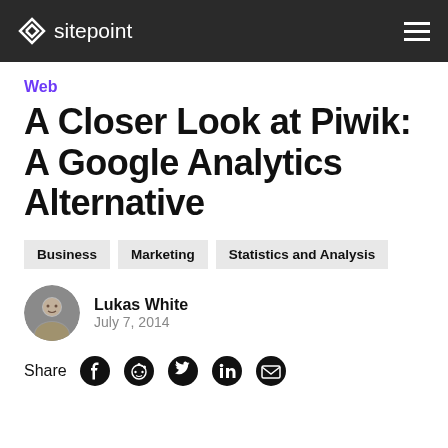sitepoint
Web
A Closer Look at Piwik: A Google Analytics Alternative
Business
Marketing
Statistics and Analysis
Lukas White
July 7, 2014
Share